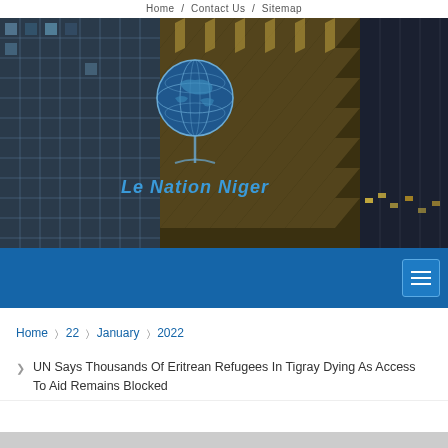Home / Contact Us / Sitemap
[Figure (photo): Hero banner with city skyscraper building facade in grey, with a globe logo and 'Le Nation Niger' text overlaid in blue italic]
Le Nation Niger
Home > 22 > January > 2022
UN Says Thousands Of Eritrean Refugees In Tigray Dying As Access To Aid Remains Blocked